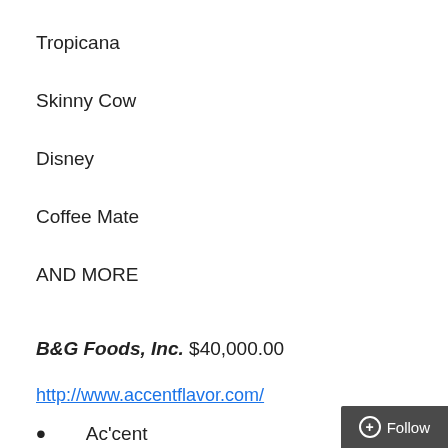Tropicana
Skinny Cow
Disney
Coffee Mate
AND MORE
B&G Foods, Inc. $40,000.00
http://www.accentflavor.com/
Ac'cent